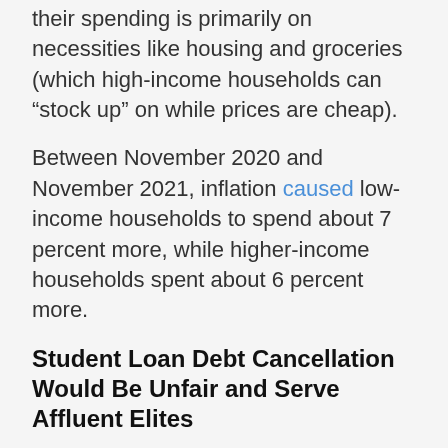their spending is primarily on necessities like housing and groceries (which high-income households can “stock up” on while prices are cheap).
Between November 2020 and November 2021, inflation caused low-income households to spend about 7 percent more, while higher-income households spent about 6 percent more.
Student Loan Debt Cancellation Would Be Unfair and Serve Affluent Elites